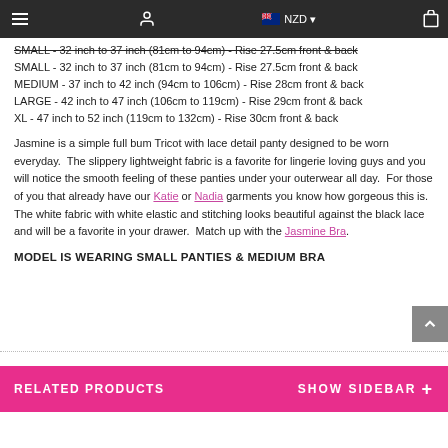Navigation bar with hamburger menu, user icon, NZD currency selector, and cart icon
SMALL - 32 inch to 37 inch (81cm to 94cm) - Rise 27.5cm front & back
MEDIUM - 37 inch to 42 inch (94cm to 106cm) - Rise 28cm front & back
LARGE - 42 inch to 47 inch (106cm to 119cm) - Rise 29cm front & back
XL - 47 inch to 52 inch (119cm to 132cm) - Rise 30cm front & back
Jasmine is a simple full bum Tricot with lace detail panty designed to be worn everyday.  The slippery lightweight fabric is a favorite for lingerie loving guys and you will notice the smooth feeling of these panties under your outerwear all day.  For those of you that already have our Katie or Nadia garments you know how gorgeous this is.  The white fabric with white elastic and stitching looks beautiful against the black lace and will be a favorite in your drawer.  Match up with the Jasmine Bra.
MODEL IS WEARING SMALL PANTIES & MEDIUM BRA
RELATED PRODUCTS   SHOW SIDEBAR +